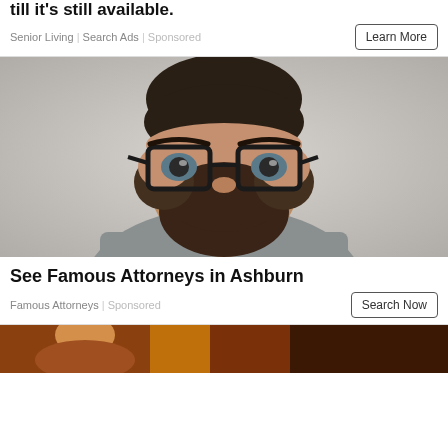till it's still available.
Senior Living | Search Ads | Sponsored
[Figure (photo): Man with beard and glasses wearing a grey shirt, photographed against a light grey background]
See Famous Attorneys in Ashburn
Famous Attorneys | Sponsored
[Figure (photo): Partial image visible at the bottom of the page, appears to show another advertisement]